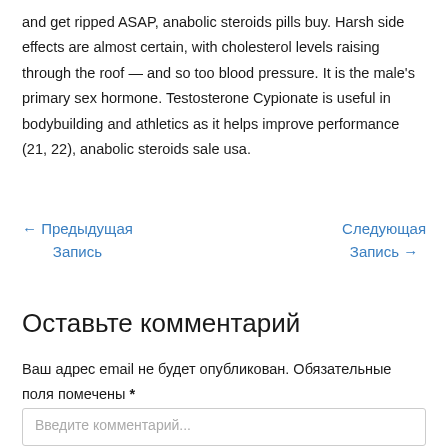and get ripped ASAP, anabolic steroids pills buy. Harsh side effects are almost certain, with cholesterol levels raising through the roof — and so too blood pressure. It is the male's primary sex hormone. Testosterone Cypionate is useful in bodybuilding and athletics as it helps improve performance (21, 22), anabolic steroids sale usa.
← Предыдущая Запись
Следующая Запись →
Оставьте комментарий
Ваш адрес email не будет опубликован. Обязательные поля помечены *
Введите комментарий...